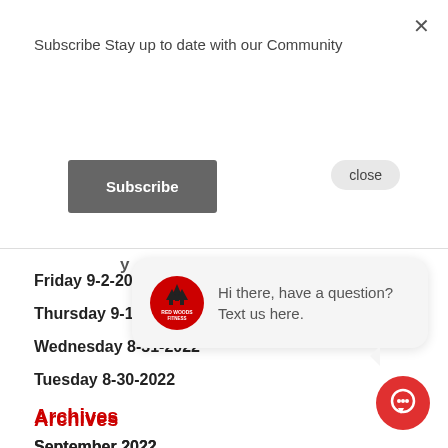Subscribe Stay up to date with our Community
Subscribe
Friday 9-2-2022
Thursday 9-1-2022
Wednesday 8-31-2022
Tuesday 8-30-2022
Archives
September 2022
August 2022
July 2022
[Figure (screenshot): Chat popup with Red Woods Fitness logo and text: Hi there, have a question? Text us here.]